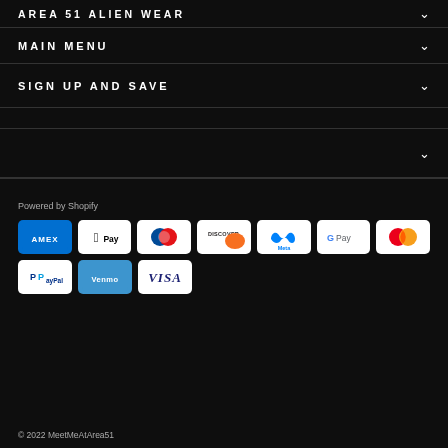AREA 51 ALIEN WEAR
MAIN MENU
SIGN UP AND SAVE
Powered by Shopify
[Figure (other): Payment method icons: American Express, Apple Pay, Diners Club, Discover, Meta Pay, Google Pay, Mastercard, PayPal, Venmo, Visa]
© 2022 MeetMeAtArea51